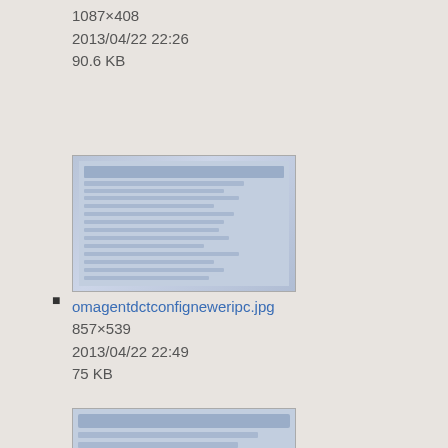1087×408
2013/04/22 22:26
90.6 KB
[Figure (screenshot): Thumbnail screenshot of omagentdctconfigneweripc.jpg]
omagentdctconfigneweripc.jpg
857×539
2013/04/22 22:49
75 KB
[Figure (screenshot): Thumbnail screenshot of omexoptions.png]
omexoptions.png
386×168
2012/12/07 21:36
9.6 KB
[Figure (screenshot): Thumbnail screenshot of omexprefs.png]
omexprefs.png